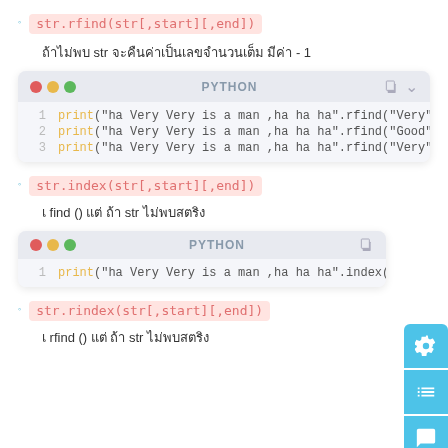str.rfind(str[,start][,end])
ถ้าไม่พบ str จะคืนค่าเป็นเลขจำนวนเต็ม มีค่า - 1
[Figure (screenshot): Python code block showing: 1 print("ha Very Very is a man ,ha ha ha".rfind("Very")) # 2 print("ha Very Very is a man ,ha ha ha".rfind("Good")) 3 print("ha Very Very is a man ,ha ha ha".rfind("Very", 7)]
str.index(str[,start][,end])
เ find () แต่ ถ้า str ไม่พบสตริง
[Figure (screenshot): Python code block showing: 1 print("ha Very Very is a man ,ha ha ha".index("Very"))]
str.rindex(str[,start][,end])
เ rfind () แต่ ถ้า str ไม่พบสตริง